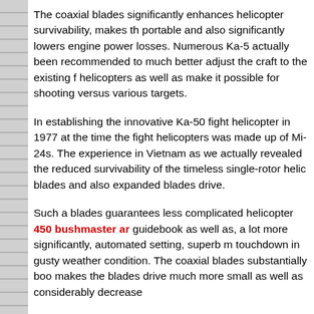The coaxial blades significantly enhances helicopter survivability, makes th portable and also significantly lowers engine power losses. Numerous Ka-5 actually been recommended to much better adjust the craft to the existing f helicopters as well as make it possible for shooting versus various targets.
In establishing the innovative Ka-50 fight helicopter in 1977 at the time the fight helicopters was made up of Mi- 24s. The experience in Vietnam as we actually revealed the reduced survivability of the timeless single-rotor helic blades and also expanded blades drive.
Such a blades guarantees less complicated helicopter 450 bushmaster am guidebook as well as, a lot more significantly, automated setting, superb m touchdown in gusty weather condition. The coaxial blades substantially boo makes the blades drive much more small as well as considerably decrease
The Ka-50’s fight power is based basically on anti-tank directed projectiles after that a helicopter assaults containers, it comes to be an excellent adve lower the time invested by the helicopter in the shooting area, going beyon reliable array of adversary anti-aircraft projectiles.
The top priorities of the “Kamov” business expand much past its unparallel as well as method of structure coaxial blades helicopters. In 1965, the busi glass rotor blades in their helicopters 10 years prior to the remainder of the